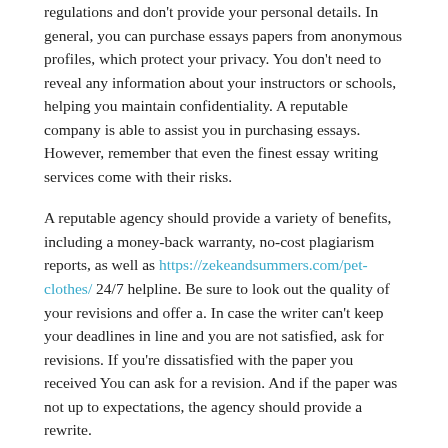regulations and don't provide your personal details. In general, you can purchase essays papers from anonymous profiles, which protect your privacy. You don't need to reveal any information about your instructors or schools, helping you maintain confidentiality. A reputable company is able to assist you in purchasing essays. However, remember that even the finest essay writing services come with their risks.
A reputable agency should provide a variety of benefits, including a money-back warranty, no-cost plagiarism reports, as well as https://zekeandsummers.com/pet-clothes/ 24/7 helpline. Be sure to look out the quality of your revisions and offer a. In case the writer can't keep your deadlines in line and you are not satisfied, ask for revisions. If you're dissatisfied with the paper you received You can ask for a revision. And if the paper was not up to expectations, the agency should provide a rewrite.
The essay should also meet the demands of professional writers and editors. There's no way you can expect the essay to be 100% perfect unless the writer has completed a stringent procedure of editing. Moreover, you can request that it be modified as often as you need. Additionally, the essay writing service should be affordable pricing ranging from $10 for one page to $15 for multiple revisions. They